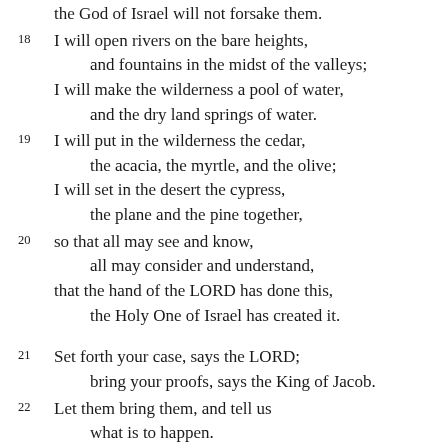the God of Israel will not forsake them.
18 I will open rivers on the bare heights,
    and fountains in the midst of the valleys;
I will make the wilderness a pool of water,
    and the dry land springs of water.
19 I will put in the wilderness the cedar,
    the acacia, the myrtle, and the olive;
I will set in the desert the cypress,
    the plane and the pine together,
20 so that all may see and know,
    all may consider and understand,
that the hand of the LORD has done this,
    the Holy One of Israel has created it.
21 Set forth your case, says the LORD;
    bring your proofs, says the King of Jacob.
22 Let them bring them, and tell us
    what is to happen.
Tell us the former things, what they are,